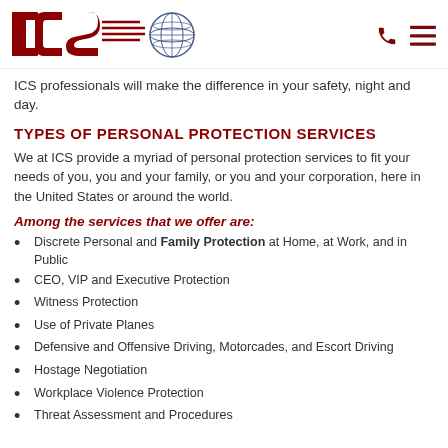[Figure (logo): ICS logo with globe icon]
ICS professionals will make the difference in your safety, night and day.
TYPES OF PERSONAL PROTECTION SERVICES
We at ICS provide a myriad of personal protection services to fit your needs of you, you and your family, or you and your corporation, here in the United States or around the world.
Among the services that we offer are:
Discrete Personal and Family Protection at Home, at Work, and in Public
CEO, VIP and Executive Protection
Witness Protection
Use of Private Planes
Defensive and Offensive Driving, Motorcades, and Escort Driving
Hostage Negotiation
Workplace Violence Protection
Threat Assessment and Procedures